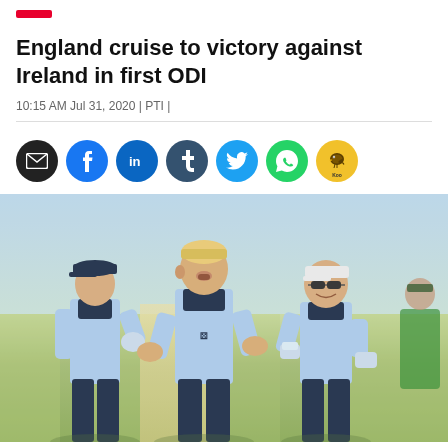England cruise to victory against Ireland in first ODI
10:15 AM Jul 31, 2020 | PTI |
[Figure (other): Social media sharing icons: email, Facebook, LinkedIn, Tumblr, Twitter, WhatsApp, Koo]
[Figure (photo): Three England cricketers in light blue uniforms doing elbow bumps on a cricket field, celebrating a wicket. Sunny conditions on a green pitch.]